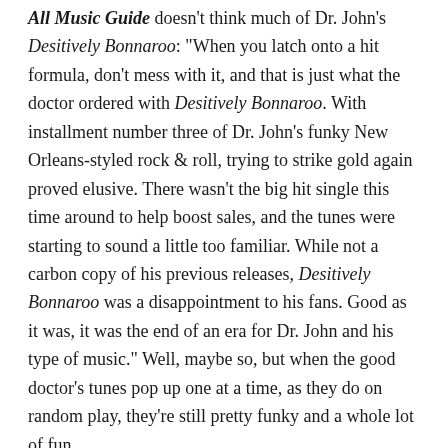All Music Guide doesn't think much of Dr. John's Desitively Bonnaroo: "When you latch onto a hit formula, don't mess with it, and that is just what the doctor ordered with Desitively Bonnaroo. With installment number three of Dr. John's funky New Orleans-styled rock & roll, trying to strike gold again proved elusive. There wasn't the big hit single this time around to help boost sales, and the tunes were starting to sound a little too familiar. While not a carbon copy of his previous releases, Desitively Bonnaroo was a disappointment to his fans. Good as it was, it was the end of an era for Dr. John and his type of music." Well, maybe so, but when the good doctor's tunes pop up one at a time, as they do on random play, they're still pretty funky and a whole lot of fun.
I Was Right . . . and I Was Wrong
I said Friday during my discussion of Linda Ronstadt's